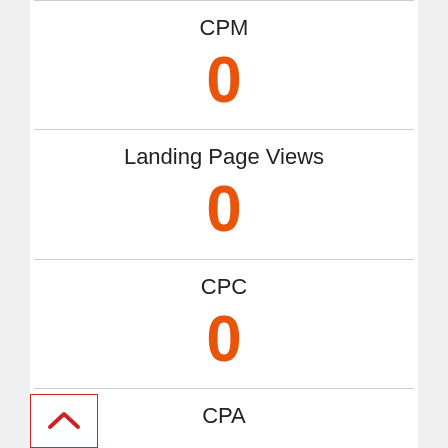CPM
0
Landing Page Views
0
CPC
0
CPA